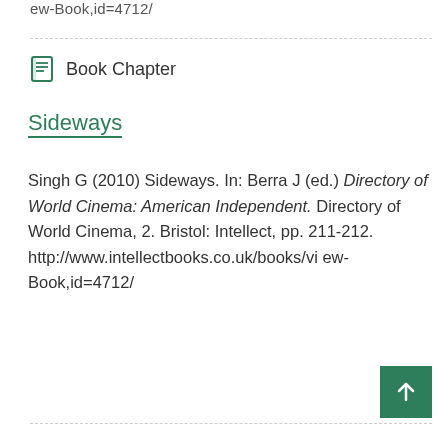ew-Book,id=4712/
Book Chapter
Sideways
Singh G (2010) Sideways. In: Berra J (ed.) Directory of World Cinema: American Independent. Directory of World Cinema, 2. Bristol: Intellect, pp. 211-212. http://www.intellectbooks.co.uk/books/view-Book,id=4712/